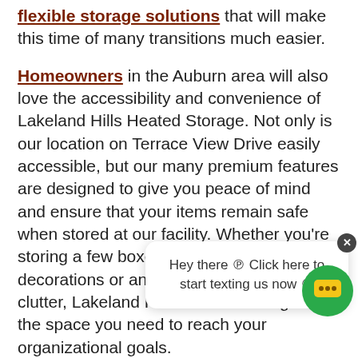flexible storage solutions that will make this time of many transitions much easier.
Homeowners in the Auburn area will also love the accessibility and convenience of Lakeland Hills Heated Storage. Not only is our location on Terrace View Drive easily accessible, but our many premium features are designed to give you peace of mind and ensure that your items remain safe when stored at our facility. Whether you're storing a few boxes of seasonal decorations or an entire garage's-worth of clutter, Lakeland Hills Heated Storage has the space you need to reach your organizational goals.
Find Your Auburn Hills Storage Unit Today
No matter if your storage needs are big, small